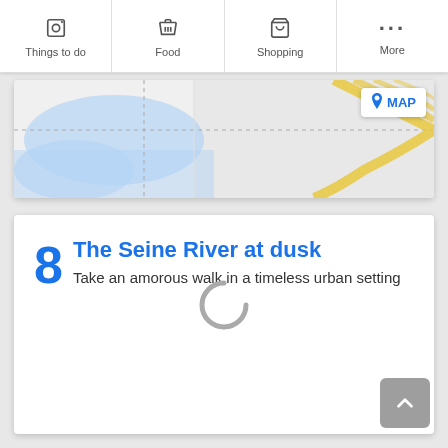Things to do | Food | Shopping | More
[Figure (map): Partial map view showing a city area with blue water regions and yellow road markings, with a MAP button in top right]
8 The Seine River at dusk
Take an amorous walk in a timeless urban setting
[Figure (other): Loading spinner (grey C-shaped arc) indicating content is loading]
[Figure (other): Scroll-to-top button (grey rounded square with upward chevron arrow)]